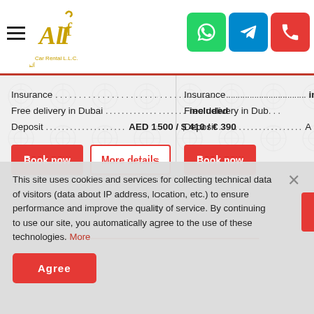[Figure (logo): Alif Car Rental LLC logo with golden Arabic calligraphy and stylized text]
Insurance ............................................. included
Free delivery in Dubai ........................... included
Deposit ......................... AED 1500 / $ 410 / € 390
Book now
More details
Insurance .....................................
Free delivery in Dub...
Deposit ......................... AE...
Book now
This site uses cookies and services for collecting technical data of visitors (data about IP address, location, etc.) to ensure performance and improve the quality of service. By continuing to use our site, you automatically agree to the use of these technologies. More
Agree